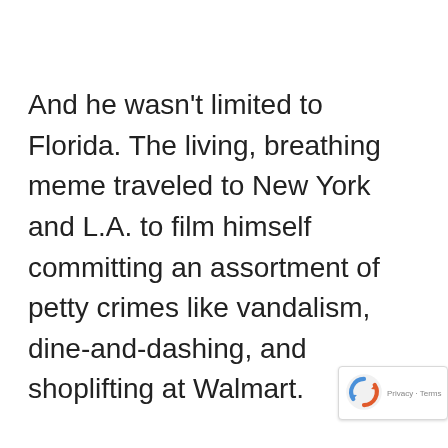And he wasn't limited to Florida. The living, breathing meme traveled to New York and L.A. to film himself committing an assortment of petty crimes like vandalism, dine-and-dashing, and shoplifting at Walmart.
[Figure (logo): reCAPTCHA badge with spinning arrows logo and 'Privacy - Terms' text]